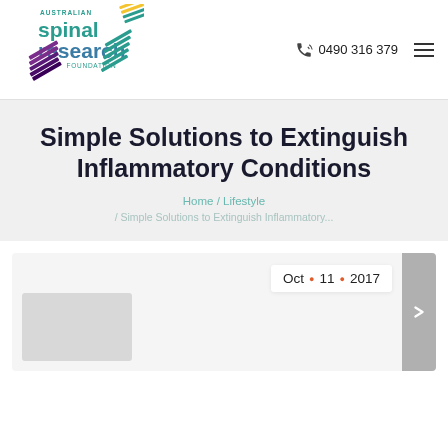[Figure (logo): Australian Spinal Research Foundation logo with teal and purple diagonal lines]
0490 316 379
Simple Solutions to Extinguish Inflammatory Conditions
Home / Lifestyle
/ Simple Solutions to Extinguish Inflammatory...
Oct • 11 • 2017